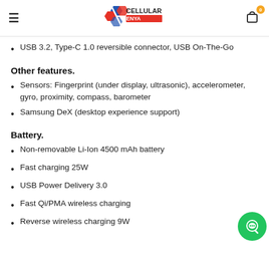Cellular Kenya
USB 3.2, Type-C 1.0 reversible connector, USB On-The-Go
Other features.
Sensors: Fingerprint (under display, ultrasonic), accelerometer, gyro, proximity, compass, barometer
Samsung DeX (desktop experience support)
Battery.
Non-removable Li-Ion 4500 mAh battery
Fast charging 25W
USB Power Delivery 3.0
Fast Qi/PMA wireless charging
Reverse wireless charging 9W